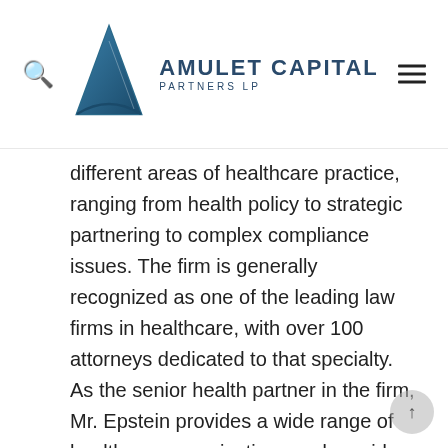AMULET CAPITAL PARTNERS LP
different areas of healthcare practice, ranging from health policy to strategic partnering to complex compliance issues. The firm is generally recognized as one of the leading law firms in healthcare, with over 100 attorneys dedicated to that specialty. As the senior health partner in the firm, Mr. Epstein provides a wide range of healthcare organizations and providers with strategic guidance on the legal challenges and opportunities of the rapidly changing American health care system. In this connection, Mr. Epstein currently sits on the Board of Directors of a number of healthcare companies. Prior to